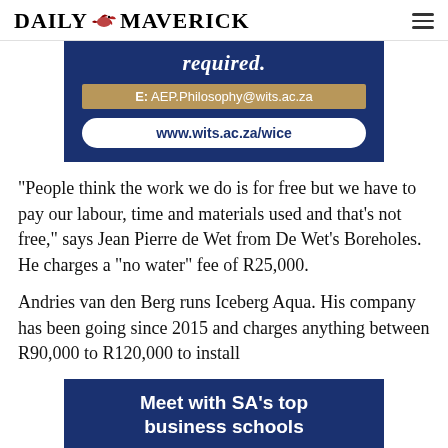DAILY MAVERICK
[Figure (infographic): Blue advertisement banner for Wits University showing italic bold text 'required.' in white, a gold/brown bar with email 'E: AEP.Philosophy@wits.ac.za', and a white pill-shaped button with URL 'www.wits.ac.za/wice']
“People think the work we do is for free but we have to pay our labour, time and materials used and that’s not free,” says Jean Pierre de Wet from De Wet’s Boreholes. He charges a “no water” fee of R25,000.
Andries van den Berg runs Iceberg Aqua. His company has been going since 2015 and charges anything between R90,000 to R120,000 to install
[Figure (infographic): Blue advertisement banner with white bold text 'Meet with SA’s top business schools']